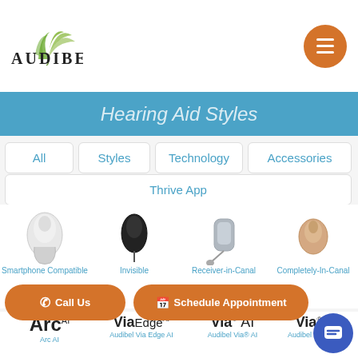[Figure (logo): Audibel logo with green leaf design above brand name]
[Figure (other): Orange hamburger menu button]
[Figure (other): Blue banner with italic heading text]
All
Styles
Technology
Accessories
Thrive App
[Figure (photo): Hearing aid style icons: Smartphone Compatible (white), Invisible (black), Receiver-in-Canal (silver), Completely-In-Canal (beige)]
Smartphone Compatible
Invisible
Receiver-in-Canal
Completely-In-Canal
[Figure (logo): Arc AI logo - large bold sans-serif]
Arc AI
[Figure (logo): Via Edge AI logo]
Audibel Via Edge AI
[Figure (logo): Via AI logo]
Audibel Via® AI
[Figure (logo): Via logo (partial)]
Audibel Via®
Call Us
Schedule Appointment